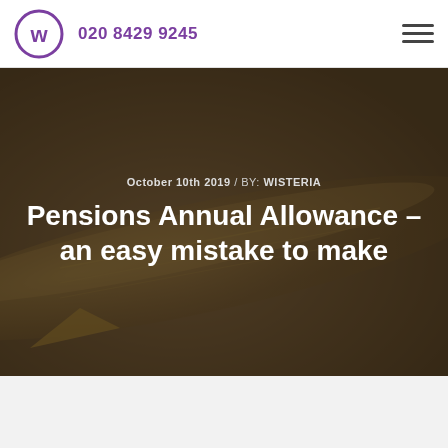020 8429 9245
[Figure (photo): Hero image with dark overlay showing a close-up of a vintage fountain pen nib with golden engravings on a dark brown background]
October 10th 2019 / BY: WISTERIA
Pensions Annual Allowance – an easy mistake to make